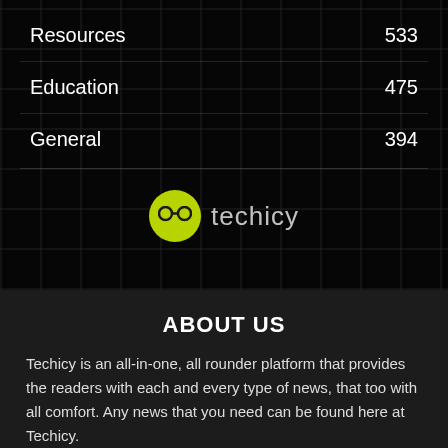Resources  533
Education  475
General  394
[Figure (logo): Techicy logo: yellow-green circle with glasses icon followed by the text 'techicy' in light gray]
ABOUT US
Techicy is an all-in-one, all rounder platform that provides the readers with each and every type of news, that too with all comfort. Any news that you need can be found here at Techicy.